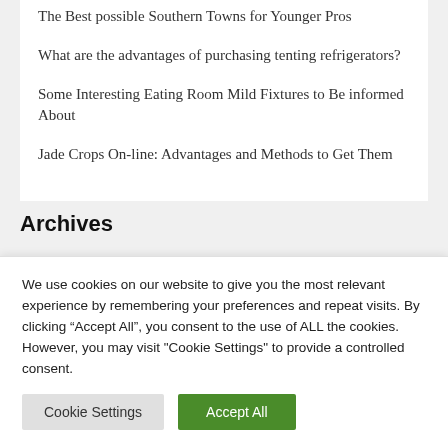The Best possible Southern Towns for Younger Pros
What are the advantages of purchasing tenting refrigerators?
Some Interesting Eating Room Mild Fixtures to Be informed About
Jade Crops On-line: Advantages and Methods to Get Them
Archives
We use cookies on our website to give you the most relevant experience by remembering your preferences and repeat visits. By clicking “Accept All”, you consent to the use of ALL the cookies. However, you may visit "Cookie Settings" to provide a controlled consent.